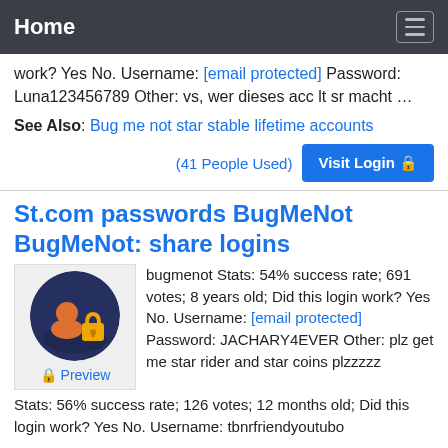Home
work? Yes No. Username: [email protected] Password: Luna123456789 Other: vs, wer dieses acc lt sr macht …
See Also: Bug me not star stable lifetime accounts
(41 People Used)  Visit Login 🔒
St.com passwords BugMeNot BugMeNot: share logins
[Figure (illustration): Circular icon with a person figure and a padlock on a dark blue background; Preview label below]
bugmenot Stats: 54% success rate; 691 votes; 8 years old; Did this login work? Yes No. Username: [email protected] Password: JACHARY4EVER Other: plz get me star rider and star coins plzzzzz
Stats: 56% success rate; 126 votes; 12 months old; Did this login work? Yes No. Username: tbnrfriendyoutubo